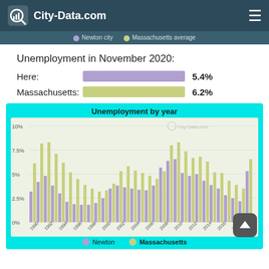City-Data.com
Unemployment in November 2020:
Here: 5.4%
Massachusetts: 6.2%
[Figure (grouped-bar-chart): Unemployment by year]